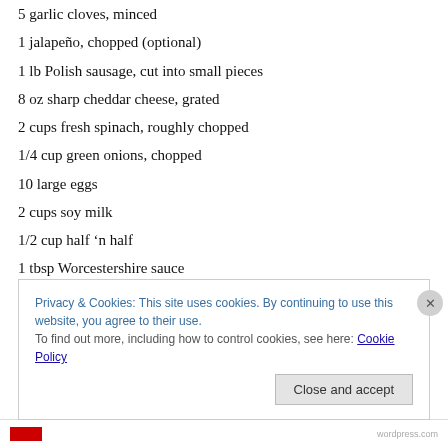5 garlic cloves, minced
1 jalapeño, chopped (optional)
1 lb Polish sausage, cut into small pieces
8 oz sharp cheddar cheese, grated
2 cups fresh spinach, roughly chopped
1/4 cup green onions, chopped
10 large eggs
2 cups soy milk
1/2 cup half 'n half
1 tbsp Worcestershire sauce
1 tsp salt
Privacy & Cookies: This site uses cookies. By continuing to use this website, you agree to their use.
To find out more, including how to control cookies, see here: Cookie Policy